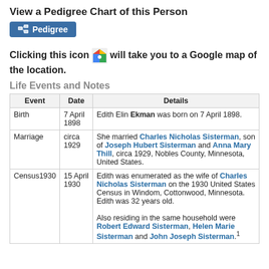View a Pedigree Chart of this Person
[Figure (other): Pedigree button with icon]
Clicking this icon [Google Maps icon] will take you to a Google map of the location.
Life Events and Notes
| Event | Date | Details |
| --- | --- | --- |
| Birth | 7 April 1898 | Edith Elin Ekman was born on 7 April 1898. |
| Marriage | circa 1929 | She married Charles Nicholas Sisterman, son of Joseph Hubert Sisterman and Anna Mary Thill, circa 1929, Nobles County, Minnesota, United States. |
| Census1930 | 15 April 1930 | Edith was enumerated as the wife of Charles Nicholas Sisterman on the 1930 United States Census in Windom, Cottonwood, Minnesota. Edith was 32 years old.

Also residing in the same household were Robert Edward Sisterman, Helen Marie Sisterman and John Joseph Sisterman.¹ |